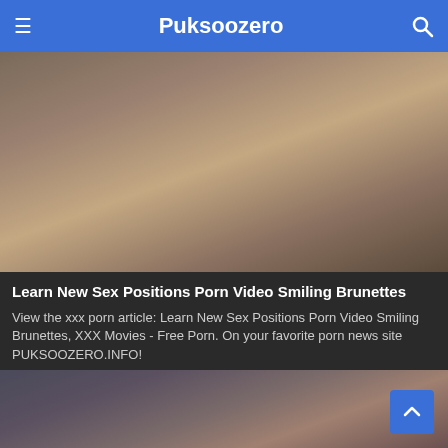Puksoozero
[Figure (photo): Thumbnail image for adult video article]
Learn New Sex Positions Porn Video Smiling Brunettes
View the xxx porn article: Learn New Sex Positions Porn Video Smiling Brunettes, XXX Movies - Free Porn. On your favorite porn news site PUKSOOZERO.INFO!
1 Views · Likes 0
[Figure (photo): Thumbnail image for second adult video article]